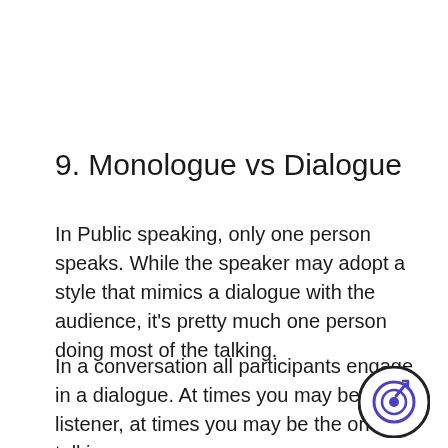9. Monologue vs Dialogue
In Public speaking, only one person speaks. While the speaker may adopt a style that mimics a dialogue with the audience, it's pretty much one person doing most of the talking.
In a conversation all participants engage in a dialogue. At times you may be the listener, at times you may be the one talking.
[Figure (logo): Circular logo with a target/goal icon in purple/blue color on white background with dark arc border]